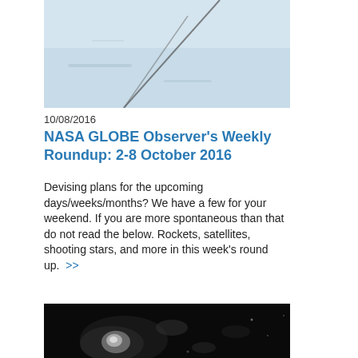[Figure (photo): Aerial or satellite view of a snowy or icy landscape with dark linear marks or cracks crossing the surface.]
10/08/2016
NASA GLOBE Observer's Weekly Roundup: 2-8 October 2016
Devising plans for the upcoming days/weeks/months? We have a few for your weekend. If you are more spontaneous than that do not read the below. Rockets, satellites, shooting stars, and more in this week's round up.  >>
[Figure (photo): Dark satellite or aerial image showing a hurricane or storm system with bright cloud formations visible.]